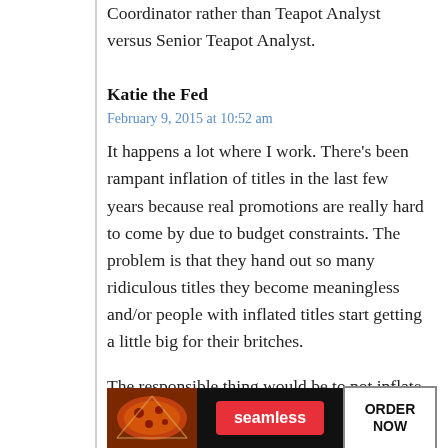Coordinator rather than Teapot Analyst versus Senior Teapot Analyst.
Katie the Fed
February 9, 2015 at 10:52 am
It happens a lot where I work. There’s been rampant inflation of titles in the last few years because real promotions are really hard to come by due to budget constraints. The problem is that they hand out so many ridiculous titles they become meaningless and/or people with inflated titles start getting a little big for their britches.
The responsible thing would be to not inflate titles and just say “the budget is terrible, and d0n’t expect promotions for a while.” It’s rough, but at le… hon…
[Figure (screenshot): Advertisement banner for Seamless food ordering service with pizza image on the left, Seamless logo in red center button, and ORDER NOW button on the right with a CLOSE button overlay]